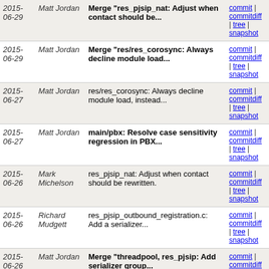| Date | Author | Message | Links |
| --- | --- | --- | --- |
| 2015-06-29 | Matt Jordan | Merge "res_pjsip_nat: Adjust when contact should be..." | commit | commitdiff | tree | snapshot |
| 2015-06-29 | Matt Jordan | Merge "res/res_corosync: Always decline module load..." | commit | commitdiff | tree | snapshot |
| 2015-06-27 | Matt Jordan | res/res_corosync: Always decline module load, instead... | commit | commitdiff | tree | snapshot |
| 2015-06-27 | Matt Jordan | main/pbx: Resolve case sensitivity regression in PBX... | commit | commitdiff | tree | snapshot |
| 2015-06-26 | Mark Michelson | res_pjsip_nat: Adjust when contact should be rewritten. | commit | commitdiff | tree | snapshot |
| 2015-06-26 | Richard Mudgett | res_pjsip_outbound_registration.c: Add a serializer... | commit | commitdiff | tree | snapshot |
| 2015-06-26 | Matt Jordan | Merge "threadpool, res_pjsip: Add serializer group..." | commit | commitdiff | tree | snapshot |
| 2015-06-26 | Matt Jordan | Merge "res_pjsip_outbound_registration.c: Fix handle_cl..." | commit | commitdiff | tree | snapshot |
| 2015-06-26 | Matt Jordan | Merge "res_pjsip_outbound_registration.c: Use ast_sorce..." | commit | commitdiff | tree | snapshot |
| 2015-06-26 | Matt Jordan | Merge "res_pjsip_refer: Prevent sending duplicate headers." | commit | commitdiff | tree | snapshot |